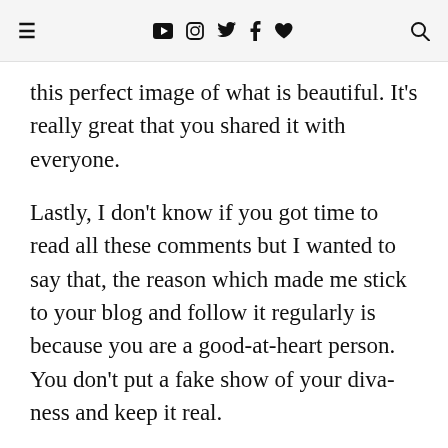≡ ▶ 📷 🐦 f ♥ 🔍
this perfect image of what is beautiful. It's really great that you shared it with everyone.
Lastly, I don't know if you got time to read all these comments but I wanted to say that, the reason which made me stick to your blog and follow it regularly is because you are a good-at-heart person. You don't put a fake show of your diva-ness and keep it real.
...